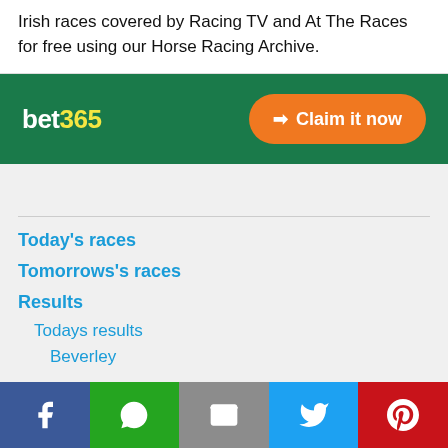Irish races covered by Racing TV and At The Races for free using our Horse Racing Archive.
[Figure (infographic): bet365 logo on green background with orange 'Claim it now' button]
Today's races
Tomorrows's races
Results
Todays results
Beverley
[Figure (infographic): Social sharing bottom bar with Facebook, WhatsApp, Email, Twitter, and Pinterest buttons]